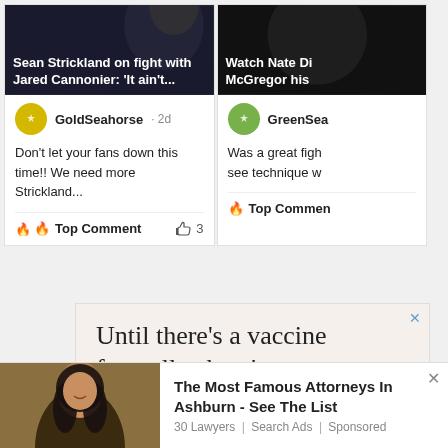[Figure (screenshot): Card showing article: Sean Strickland on fight with Jared Cannonier: 'It ain't...', with dark background photo]
GoldSeahorse · 2d
Don't let your fans down this time!! We need more Strickland...
🔥 Top Comment   👍 3
[Figure (screenshot): Card showing article: Watch Nate Di... McGregor his..., with dark background photo]
GreenSea...
Was a great figh... see technique w...
🔥 Top Commen...
[Figure (screenshot): Advertisement: Until there's a vaccine for trolls, there's us.]
[Figure (photo): Woman with dark hair smiling, used in bottom promo ad]
The Most Famous Attorneys In Ashburn - See The List
30 Lawyers | Search Ads | Sponsored